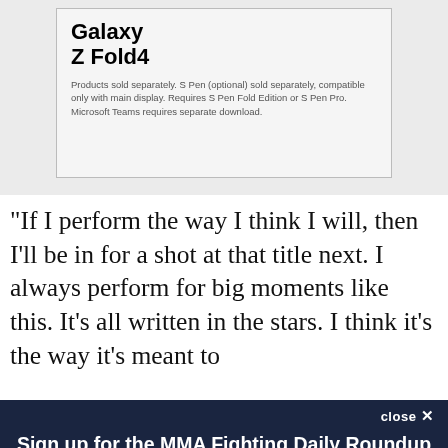[Figure (screenshot): Samsung Galaxy Z Fold4 advertisement with product image and disclaimer text]
“If I perform the way I think I will, then I’ll be in for a shot at that title next. I always perform for big moments like this. It’s all written in the stars. I think it’s the way it’s meant to
close ×
Sign up for the MMA Fighting Daily Roundup newsletter!
A daily roundup of all your fighting news from MMA Fighting
Email (required)
SUBSCRIBE
By submitting your email, you agree to our Terms and Privacy Notice. You can opt out at any time. This site is protected by reCAPTCHA and the Google Privacy Policy and Terms of Service apply.